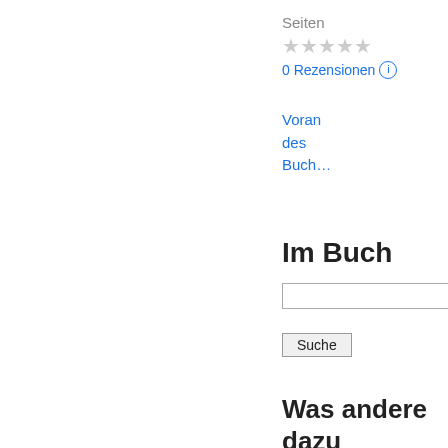Seiten
[Figure (other): 5 gray star icons representing rating]
0 Rezensionen ⓘ
Vorau… des Buch…
Im Buch
[Figure (other): Search input box]
Suche
Was andere dazu sagen - Rezension schreiben
Es wurden keine Rezensionen gefunden.